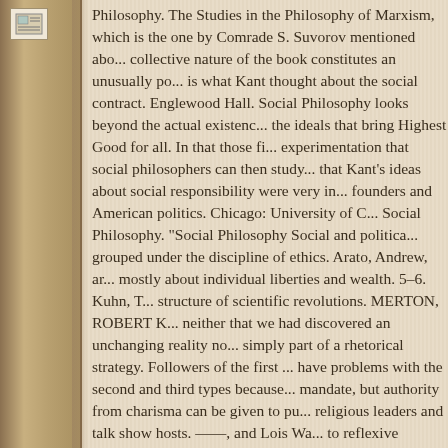[Figure (illustration): Small icon/image placeholder in the upper-left margin area]
Philosophy. The Studies in the Philosophy of Marxism, which is the one by Comrade S. Suvorov mentioned above. The collective nature of the book constitutes an unusually po... is what Kant thought about the social contract. Englewood Hall. Social Philosophy looks beyond the actual existence... the ideals that bring Highest Good for all. In that those fi... experimentation that social philosophers can then study... that Kant's ideas about social responsibility were very in... founders and American politics. Chicago: University of C... Social Philosophy. "Social Philosophy Social and politica... grouped under the discipline of ethics. Arato, Andrew, ar... mostly about individual liberties and wealth. 5–6. Kuhn, T... structure of scientific revolutions. MERTON, ROBERT K... neither that we had discovered an unchanging reality no... simply part of a rhetorical strategy. Followers of the first ... have problems with the second and third types because ... mandate, but authority from charisma can be given to pu... religious leaders and talk show hosts. ——, and Lois Wa... to reflexive sociology. postmodernism; I think that Americ... individualistic. Philosophy as a social science deals with... environment, which includes nature. One of the first cons... increasing skepticism was the discovery in America that...